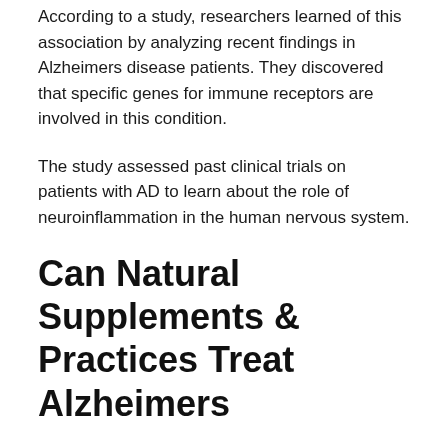According to a study, researchers learned of this association by analyzing recent findings in Alzheimers disease patients. They discovered that specific genes for immune receptors are involved in this condition.
The study assessed past clinical trials on patients with AD to learn about the role of neuroinflammation in the human nervous system.
Can Natural Supplements & Practices Treat Alzheimers
Research is beginning to say Yes
Alzheimers is, unfortunately, a very common disease that alters the memory and mental functions of older adults. With that being said, its a progressive disease that as of right now,